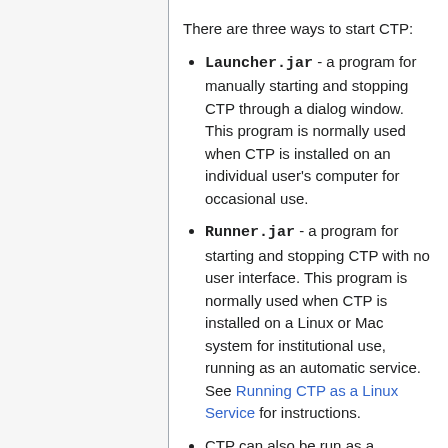There are three ways to start CTP:
Launcher.jar - a program for manually starting and stopping CTP through a dialog window. This program is normally used when CTP is installed on an individual user's computer for occasional use.
Runner.jar - a program for starting and stopping CTP with no user interface. This program is normally used when CTP is installed on a Linux or Mac system for institutional use, running as an automatic service. See Running CTP as a Linux Service for instructions.
CTP can also be run as a Windows service. See Running CTP as a Windows Service for instructions.
When learning to use CTP or when